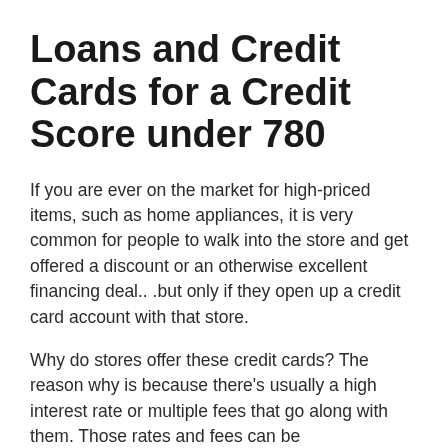Loans and Credit Cards for a Credit Score under 780
If you are ever on the market for high-priced items, such as home appliances, it is very common for people to walk into the store and get offered a discount or an otherwise excellent financing deal.. .but only if they open up a credit card account with that store.
Why do stores offer these credit cards? The reason why is because there's usually a high interest rate or multiple fees that go along with them. Those rates and fees can be